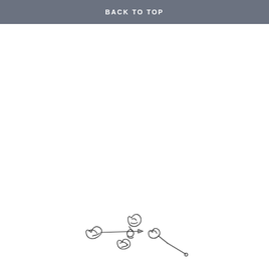BACK TO TOP
[Figure (illustration): Small hand-drawn sketch of scattered objects including what appear to be crumpled paper, a pen/brush, and small tool-like items arranged loosely]